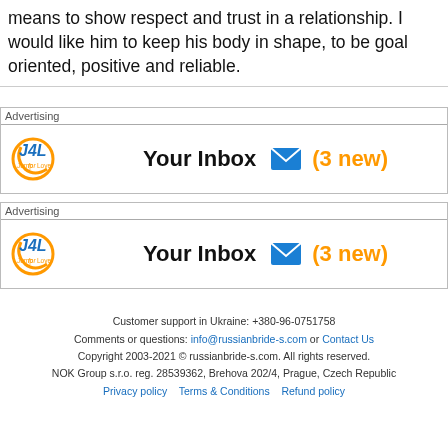means to show respect and trust in a relationship. I would like him to keep his body in shape, to be goal oriented, positive and reliable.
[Figure (other): Jump for Love (J4L) advertising banner with Your Inbox envelope icon and (3 new) notification]
[Figure (other): Jump for Love (J4L) advertising banner with Your Inbox envelope icon and (3 new) notification (duplicate)]
Customer support in Ukraine: +380-96-0751758
Comments or questions: info@russianbride-s.com or Contact Us
Copyright 2003-2021 © russianbride-s.com. All rights reserved.
NOK Group s.r.o. reg. 28539362, Brehova 202/4, Prague, Czech Republic
Privacy policy   Terms & Conditions   Refund policy